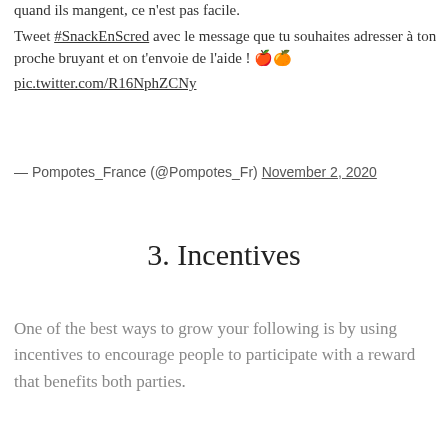quand ils mangent, ce n'est pas facile. Tweet #SnackEnScred avec le message que tu souhaites adresser à ton proche bruyant et on t'envoie de l'aide ! 🍎🍊 pic.twitter.com/R16NphZCNy
— Pompotes_France (@Pompotes_Fr) November 2, 2020
3. Incentives
One of the best ways to grow your following is by using incentives to encourage people to participate with a reward that benefits both parties.